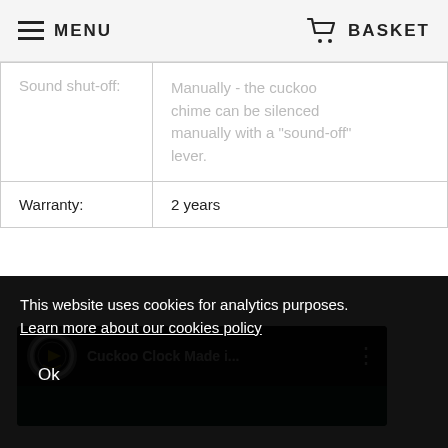MENU   BASKET
|  |  |
| --- | --- |
| Sound shut-off: | Manually - the cuckoo chime can be silenced manually with a "sound-off" lever. |
| Warranty: | 2 years |
[Figure (screenshot): YouTube video thumbnail showing 'Cuckoo Clock Made i...' with channel logo and three-dot menu]
This website uses cookies for analytics purposes. Learn more about our cookies policy
Ok